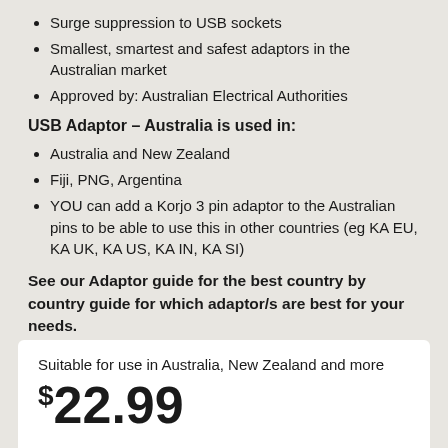Surge suppression to USB sockets
Smallest, smartest and safest adaptors in the Australian market
Approved by: Australian Electrical Authorities
USB Adaptor – Australia is used in:
Australia and New Zealand
Fiji, PNG, Argentina
YOU can add a Korjo 3 pin adaptor to the Australian pins to be able to use this in other countries (eg KA EU, KA UK, KA US, KA IN, KA SI)
See our Adaptor guide for the best country by country guide for which adaptor/s are best for your needs.
Suitable for use in Australia, New Zealand and more
$22.99